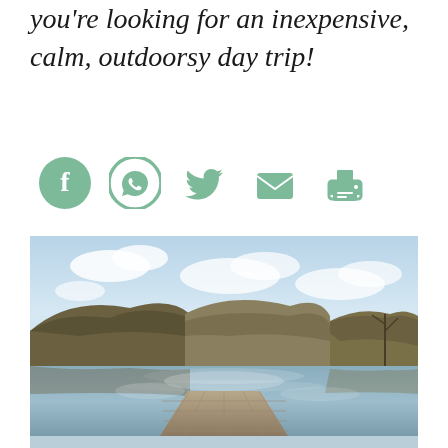you're looking for an inexpensive, calm, outdoorsy day trip!
[Figure (infographic): Row of five social share icons in muted green: Facebook, WhatsApp, Twitter/bird, Email envelope, Printer]
[Figure (photo): Landscape photo of a calm lake with a wooden dock in the foreground, wooded hills in the background, and a partly cloudy sky reflected in the still water]